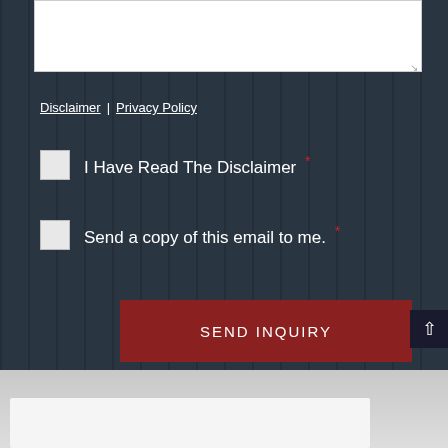[Figure (screenshot): Textarea input field at the top of the form, partially visible, with resize handle at bottom-right]
Disclaimer | Privacy Policy
I Have Read The Disclaimer *
Send a copy of this email to me. *
SEND INQUIRY
[Figure (screenshot): Bottom section with light gray background and partial white content box visible]